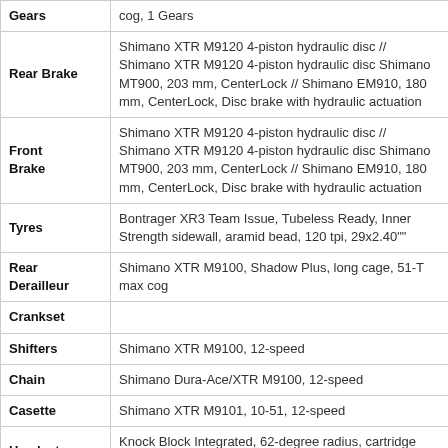| Component | Details |
| --- | --- |
| Gears | cog, 1 Gears |
| Rear Brake | Shimano XTR M9120 4-piston hydraulic disc // Shimano XTR M9120 4-piston hydraulic disc Shimano MT900, 203 mm, CenterLock // Shimano EM910, 180 mm, CenterLock, Disc brake with hydraulic actuation |
| Front Brake | Shimano XTR M9120 4-piston hydraulic disc // Shimano XTR M9120 4-piston hydraulic disc Shimano MT900, 203 mm, CenterLock // Shimano EM910, 180 mm, CenterLock, Disc brake with hydraulic actuation |
| Tyres | Bontrager XR3 Team Issue, Tubeless Ready, Inner Strength sidewall, aramid bead, 120 tpi, 29x2.40"" |
| Rear Derailleur | Shimano XTR M9100, Shadow Plus, long cage, 51-T max cog |
| Crankset |  |
| Shifters | Shimano XTR M9100, 12-speed |
| Chain | Shimano Dura-Ace/XTR M9100, 12-speed |
| Casette | Shimano XTR M9101, 10-51, 12-speed |
| Headset | Knock Block Integrated, 62-degree radius, cartridge bearing, 1-1/8" top, 1.5" bottom |
|  | Bontrager Line Pro, OCLV Carbon, 35 mm, 15 mm rise, |